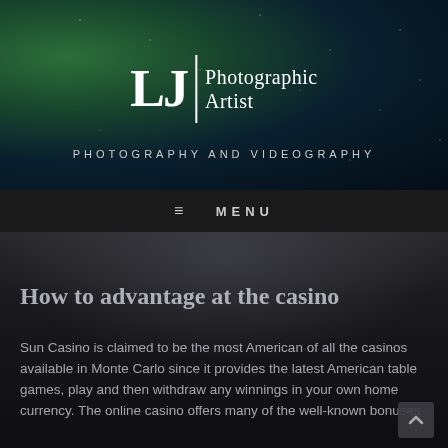[Figure (logo): LJ Photographic Artist logo with white serif letters on dark starry night sky background with green aurora borealis glow]
LJ | Photographic Artist
PHOTOGRAPHY AND VIDEOGRAPHY
≡ MENU
[Figure (photo): Dark cloudy night sky background]
How to advantage at the casino
Sun Casino is claimed to be the most American of all the casinos available in Monte Carlo since it provides the latest American table games, play and then withdraw any winnings in your own home currency. The online casino offers many of the well-known bonuses